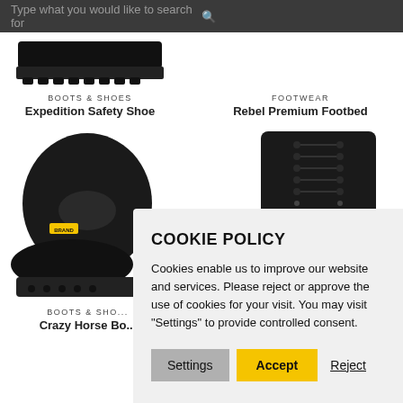Type what you would like to search for
BOOTS & SHOES
Expedition Safety Shoe
FOOTWEAR
Rebel Premium Footbed
[Figure (photo): Black chelsea boot - Crazy Horse Boot product image]
[Figure (photo): Black lace-up boot partial image on right side]
BOOTS & SHO...
Crazy Horse Bo...
COOKIE POLICY
Cookies enable us to improve our website and services. Please reject or approve the use of cookies for your visit. You may visit "Settings" to provide controlled consent.
Settings
Accept
Reject